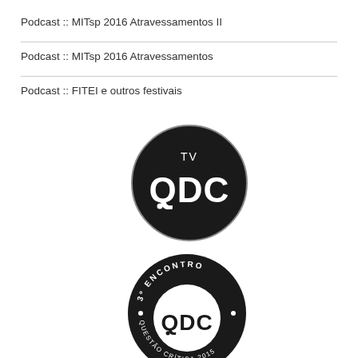Podcast :: MITsp 2016 Atravessamentos II
Podcast :: MITsp 2016 Atravessamentos
Podcast :: FITEI e outros festivais
[Figure (logo): TV QDC circular logo — dark circle with white text: TV above and QDC in large letters below]
[Figure (logo): 3º Encontro QDC Questão Crítica 2015 circular badge — outer ring with text, inner white circle with QDC logo]